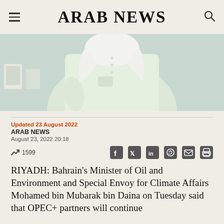ARAB NEWS
[Figure (photo): Person wearing traditional white Gulf Arab attire (thobe and keffiyeh) photographed from behind/side, in an office or indoor setting with frames visible in background]
Updated 23 August 2022
ARAB NEWS
August 23, 2022 20:18
1599
RIYADH: Bahrain's Minister of Oil and Environment and Special Envoy for Climate Affairs Mohamed bin Mubarak bin Daina on Tuesday said that OPEC+ partners will continue